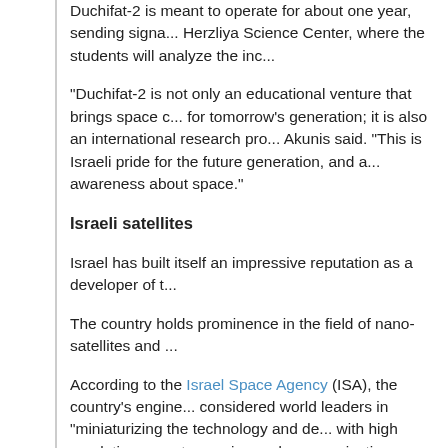Duchifat-2 is meant to operate for about one year, sending signa... Herzliya Science Center, where the students will analyze the inc...
“Duchifat-2 is not only an educational venture that brings space c... for tomorrow’s generation; it is also an international research pro... Akunis said. “This is Israeli pride for the future generation, and a... awareness about space.”
Israeli satellites
Israel has built itself an impressive reputation as a developer of t...
The country holds prominence in the field of nano-satellites and ...
According to the Israel Space Agency (ISA), the country’s engine... considered world leaders in “miniaturizing the technology and de... with high resolution, remote sensing and communication capabil... “the development of technologies for miniature satellites and me...
In 2014, Israel launched Duchifat-1, an experimental spacecraft ... Herzliya Science Center by secondary-school students. It is still ...
Duchifat-1 was the world’s second high school student-built nano... sponsored TJ3Sat student satellite launched from the United Sta...